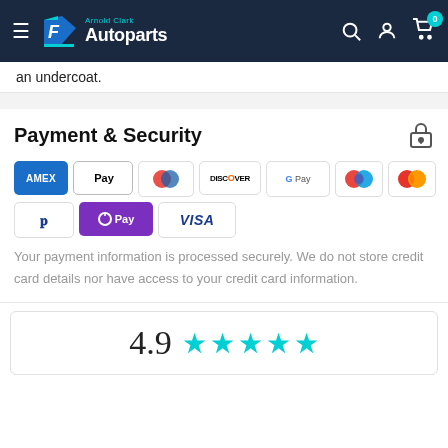Arnold Clark Autoparts navigation bar
an undercoat.
Payment & Security
[Figure (infographic): Payment method icons: Amex, Apple Pay, Diners, Discover, Google Pay, Maestro, Mastercard, PayPal, OPay, Visa]
Your payment information is processed securely. We do not store credit card details nor have access to your credit card information.
4.9 ★★★★★